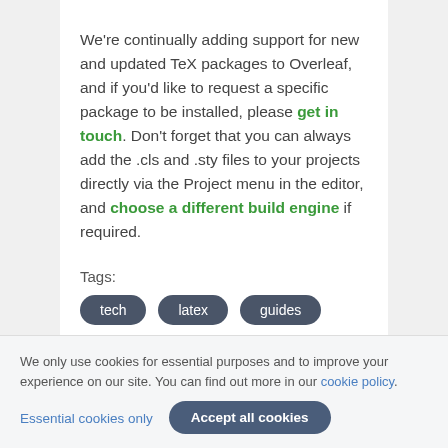We're continually adding support for new and updated TeX packages to Overleaf, and if you'd like to request a specific package to be installed, please get in touch. Don't forget that you can always add the .cls and .sty files to your projects directly via the Project menu in the editor, and choose a different build engine if required.
Tags:
tech
latex
guides
We only use cookies for essential purposes and to improve your experience on our site. You can find out more in our cookie policy.
Essential cookies only   Accept all cookies